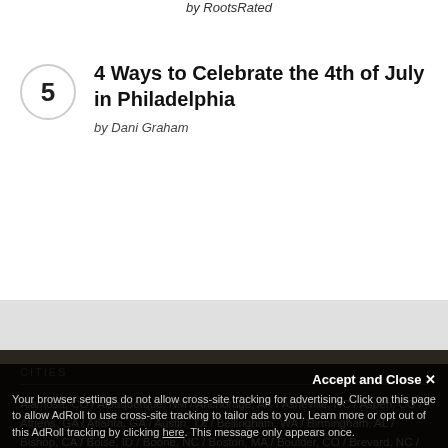by RootsRated
5 — 4 Ways to Celebrate the 4th of July in Philadelphia by Dani Graham
CITIES
Alamosa, CO / Albuquerque, NM / Anchorage, AK / Asheville, NC / Aspen, CO / Athens, GA / Atlanta, GA / Austin, TX / Bellingham, WA / Birmingham, AL / Bishop, CA / Boise, ID / Boone, NC / Boston, MA / Boulder, CO / Brevard, NC / Burlington, VT / Camden, TN / Chapel Hill, NC / Charleston, SC / Charlotte, NC / Chattanooga, TN / Cheyenne, WY / Chicago, IL / Cleveland, OH / Cody and East Yellowstone, WY / Colorado Springs, CO / Conway, NH / Cortez, CO / Dallas/Ft. Worth, TX / Denver, CO / Dubois, WY / Durango, CO / Eugene, OR / Fayetteville, AR / Flagstaff
Accept and Close ✕ Your browser settings do not allow cross-site tracking for advertising. Click on this page to allow AdRoll to use cross-site tracking to tailor ads to you. Learn more or opt out of this AdRoll tracking by clicking here. This message only appears once.